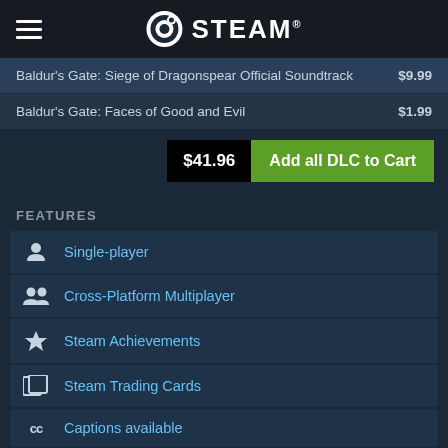STEAM
| Item | Price |
| --- | --- |
| Baldur's Gate: Siege of Dragonspear Official Soundtrack | $9.99 |
| Baldur's Gate: Faces of Good and Evil | $1.99 |
$41.96  Add all DLC to Cart
FEATURES
Single-player
Cross-Platform Multiplayer
Steam Achievements
Steam Trading Cards
Captions available
Steam Cloud